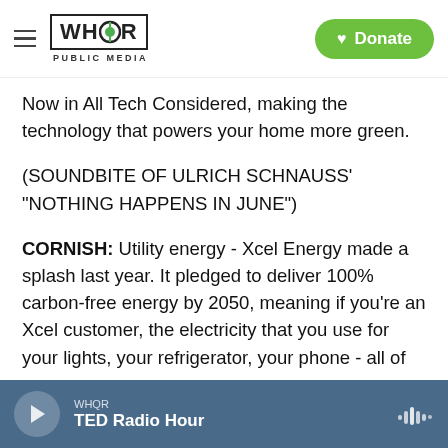WHQR PUBLIC MEDIA | Donate
Now in All Tech Considered, making the technology that powers your home more green.
(SOUNDBITE OF ULRICH SCHNAUSS' "NOTHING HAPPENS IN JUNE")
CORNISH: Utility energy - Xcel Energy made a splash last year. It pledged to deliver 100% carbon-free energy by 2050, meaning if you're an Xcel customer, the electricity that you use for your lights, your refrigerator, your phone - all of that will be clean, free of the carbon emissions that contribute
WHQR | TED Radio Hour